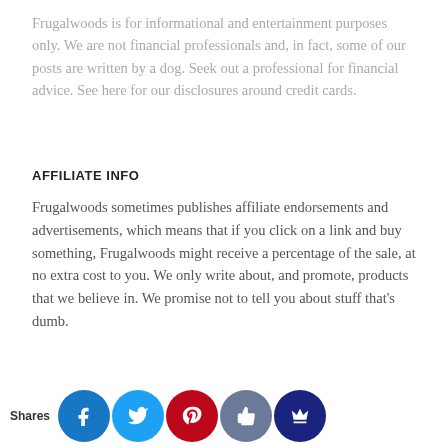Frugalwoods is for informational and entertainment purposes only. We are not financial professionals and, in fact, some of our posts are written by a dog. Seek out a professional for financial advice. See here for our disclosures around credit cards.
AFFILIATE INFO
Frugalwoods sometimes publishes affiliate endorsements and advertisements, which means that if you click on a link and buy something, Frugalwoods might receive a percentage of the sale, at no extra cost to you. We only write about, and promote, products that we believe in. We promise not to tell you about stuff that's dumb.
PRIVACY POLICY
Shares